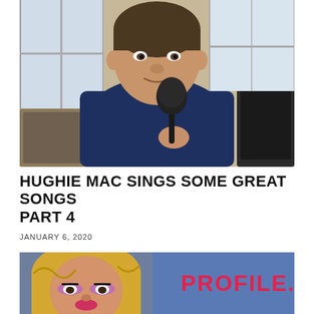[Figure (photo): Man in navy blue sweatshirt holding a black microphone, standing indoors near glass doors, looking into the camera]
HUGHIE MAC SINGS SOME GREAT SONGS PART 4
JANUARY 6, 2020
[Figure (photo): Blonde woman with dramatic makeup on the left, and a blue book or folder with red embroidered text reading PROFILE on the right]